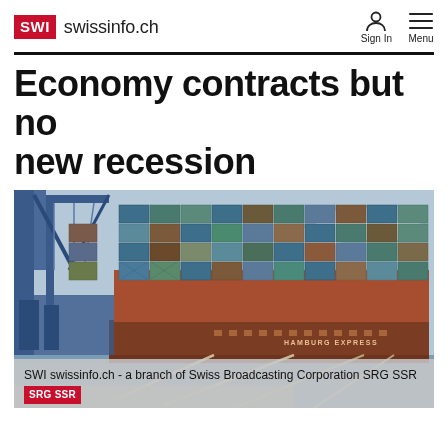SWI swissinfo.ch
Economy contracts but no new recession
[Figure (photo): Container ship loaded with stacked shipping containers docked at a port, with blue cargo cranes visible on the left. The ship reads 'HAMBURG EXPRESS' on its hull.]
SWI swissinfo.ch - a branch of Swiss Broadcasting Corporation SRG SSR